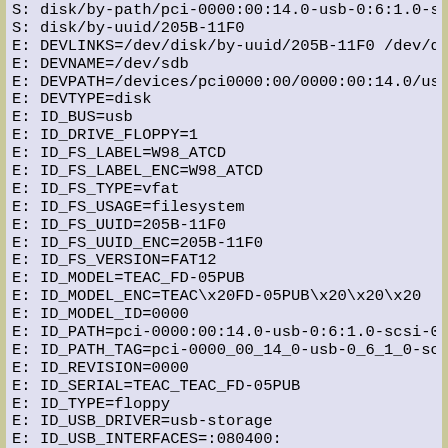S: disk/by-path/pci-0000:00:14.0-usb-0:6:1.0-sc...
S: disk/by-uuid/205B-11F0
E: DEVLINKS=/dev/disk/by-uuid/205B-11F0 /dev/di...
E: DEVNAME=/dev/sdb
E: DEVPATH=/devices/pci0000:00/0000:00:14.0/usb...
E: DEVTYPE=disk
E: ID_BUS=usb
E: ID_DRIVE_FLOPPY=1
E: ID_FS_LABEL=W98_ATCD
E: ID_FS_LABEL_ENC=W98_ATCD
E: ID_FS_TYPE=vfat
E: ID_FS_USAGE=filesystem
E: ID_FS_UUID=205B-11F0
E: ID_FS_UUID_ENC=205B-11F0
E: ID_FS_VERSION=FAT12
E: ID_MODEL=TEAC_FD-05PUB
E: ID_MODEL_ENC=TEAC\x20FD-05PUB\x20\x20\x20
E: ID_MODEL_ID=0000
E: ID_PATH=pci-0000:00:14.0-usb-0:6:1.0-scsi-0:...
E: ID_PATH_TAG=pci-0000_00_14_0-usb-0_6_1_0-scs...
E: ID_REVISION=0000
E: ID_SERIAL=TEAC_TEAC_FD-05PUB
E: ID_TYPE=floppy
E: ID_USB_DRIVER=usb-storage
E: ID_USB_INTERFACES=:080400:
E: ID_USB_INTERFACE_NUM=00